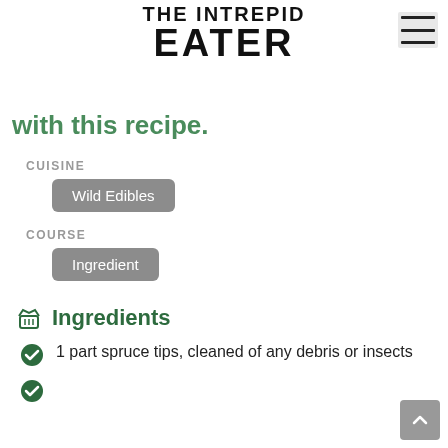THE INTREPID EATER
spruce tips. You can make as many as you'd like with this recipe.
CUISINE
Wild Edibles
COURSE
Ingredient
Ingredients
1 part spruce tips, cleaned of any debris or insects